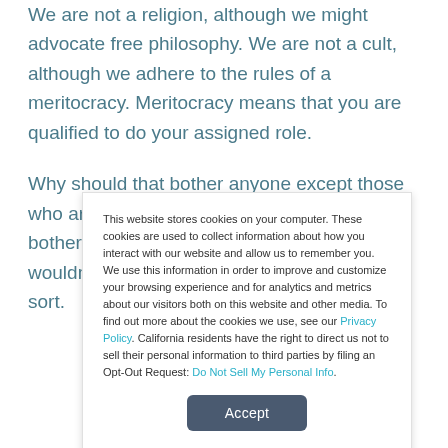We are not a religion, although we might advocate free philosophy. We are not a cult, although we adhere to the rules of a meritocracy. Meritocracy means that you are qualified to do your assigned role.
Why should that bother anyone except those who are not qualified? Obviously, it does bother some people, or certain people wouldn't try to use it as a weapon of some sort.
This website stores cookies on your computer. These cookies are used to collect information about how you interact with our website and allow us to remember you. We use this information in order to improve and customize your browsing experience and for analytics and metrics about our visitors both on this website and other media. To find out more about the cookies we use, see our Privacy Policy. California residents have the right to direct us not to sell their personal information to third parties by filing an Opt-Out Request: Do Not Sell My Personal Info.